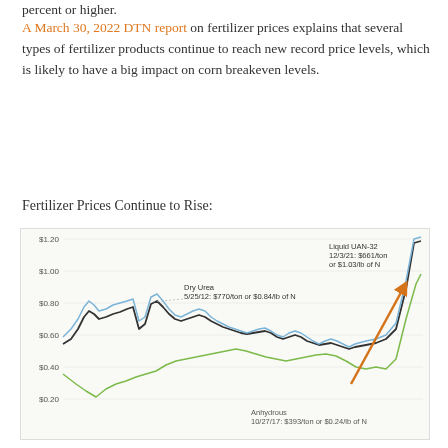percent or higher.
A March 30, 2022 DTN report on fertilizer prices explains that several types of fertilizer products continue to reach new record price levels, which is likely to have a big impact on corn breakeven levels.
Fertilizer Prices Continue to Rise:
[Figure (continuous-plot): Line chart showing fertilizer prices over time. Three lines are shown: Dry Urea (dark/black line), Liquid UAN-32 (blue line), and Anhydrous (green line). All three spike sharply at the right end. Annotations note: Dry Urea 5/25/12: $770/ton or $0.84/lb of N; Liquid UAN-32 12/3/21: $661/ton or $1.03/lb of N; Anhydrous 10/27/17: $393/ton or $0.24/lb of N. Y-axis ranges from $0.20 to $1.20. An orange arrow points upward toward the recent spike. The chart title is not present but describes fertilizer price continuations.]